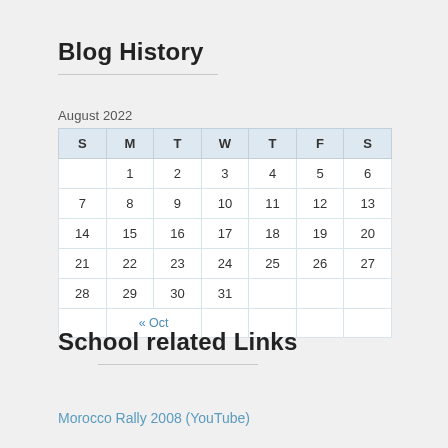Blog History
August 2022
| S | M | T | W | T | F | S |
| --- | --- | --- | --- | --- | --- | --- |
|  | 1 | 2 | 3 | 4 | 5 | 6 |
| 7 | 8 | 9 | 10 | 11 | 12 | 13 |
| 14 | 15 | 16 | 17 | 18 | 19 | 20 |
| 21 | 22 | 23 | 24 | 25 | 26 | 27 |
| 28 | 29 | 30 | 31 |  |  |  |
|  | « Oct |  |  |  |  |  |
School related Links
Morocco Rally 2008 (YouTube)